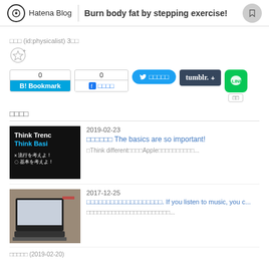Hatena Blog | Burn body fat by stepping exercise!
□□□ (id:physicalist) 3□□
[Figure (screenshot): Social sharing buttons: B! Bookmark (0), Facebook share (0), Twitter share, Tumblr, LINE]
□□□□
[Figure (screenshot): Article thumbnail: Think Trend Think Basics - 流行を考えよ！基本を考えよ！]
2019-02-23
□□□□□□ The basics are so important!
□Think different□□□□Apple□□□□□□□□□□□□...
[Figure (photo): Article thumbnail: photo of tablet/iPad with keyboard]
2017-12-25
□□□□□□□□□□□□□□□□□□□. If you listen to music, you c...
□□□□□□□□□□□□□□□□□□□□□□□...
□□□□□ (2019-02-20)